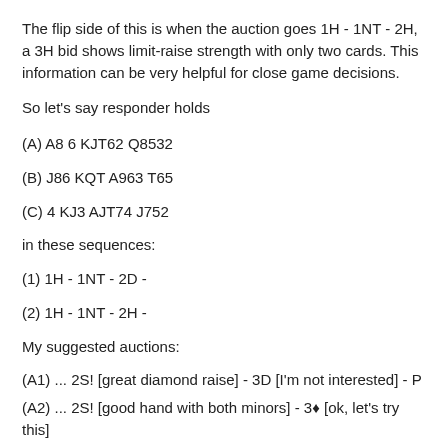The flip side of this is when the auction goes 1H - 1NT - 2H, a 3H bid shows limit-raise strength with only two cards. This information can be very helpful for close game decisions.
So let's say responder holds
(A) A8 6 KJT62 Q8532
(B) J86 KQT A963 T65
(C) 4 KJ3 AJT74 J752
in these sequences:
(1) 1H - 1NT - 2D -
(2) 1H - 1NT - 2H -
My suggested auctions:
(A1) ... 2S! [great diamond raise] - 3D [I'm not interested] - P
(A2) ... 2S! [good hand with both minors] - 3♦ [ok, let's try this]